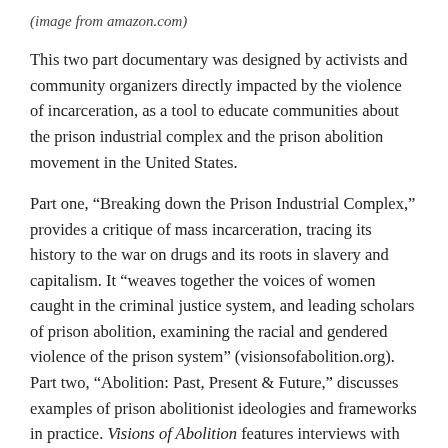(image from amazon.com)
This two part documentary was designed by activists and community organizers directly impacted by the violence of incarceration, as a tool to educate communities about the prison industrial complex and the prison abolition movement in the United States.
Part one, “Breaking down the Prison Industrial Complex,” provides a critique of mass incarceration, tracing its history to the war on drugs and its roots in slavery and capitalism. It “weaves together the voices of women caught in the criminal justice system, and leading scholars of prison abolition, examining the racial and gendered violence of the prison system” (visionsofabolition.org). Part two, “Abolition: Past, Present & Future,” discusses examples of prison abolitionist ideologies and frameworks in practice. Visions of Abolition features interviews with scholars, activists, and previously incarcerated women, including Angela Y. Davis, Ruth Wilson